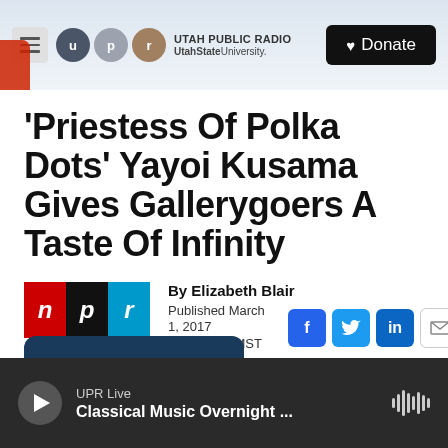Utah Public Radio — UtahState University. Donate
'Priestess Of Polka Dots' Yayoi Kusama Gives Gallerygoers A Taste Of Infinity
By Elizabeth Blair
Published March 1, 2017 at 3:06 PM MST
UPR Live — Classical Music Overnight ...